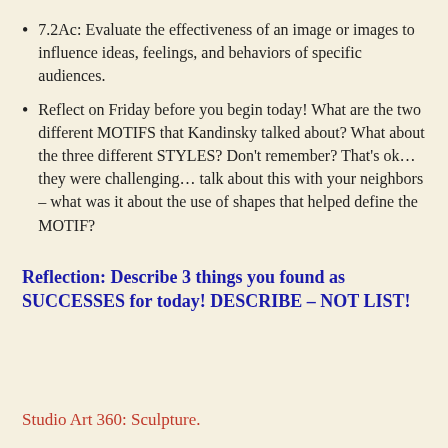7.2Ac: Evaluate the effectiveness of an image or images to influence ideas, feelings, and behaviors of specific audiences.
Reflect on Friday before you begin today! What are the two different MOTIFS that Kandinsky talked about? What about the three different STYLES? Don't remember? That's ok… they were challenging… talk about this with your neighbors – what was it about the use of shapes that helped define the MOTIF?
Reflection: Describe 3 things you found as SUCCESSES for today! DESCRIBE – NOT LIST!
Studio Art 360: Sculpture.